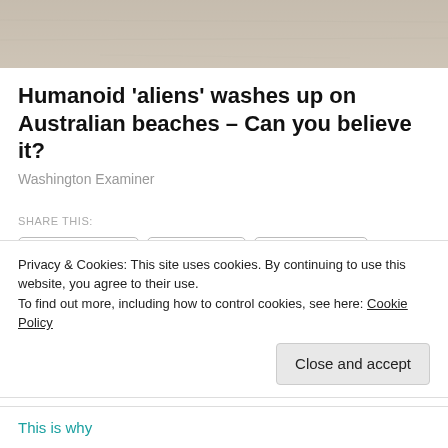[Figure (photo): Sandy beach surface, light tan/beige color, top portion of image cropped]
Humanoid 'aliens' washes up on Australian beaches – Can you believe it?
Washington Examiner
SHARE THIS:
Facebook  Twitter  Pinterest
Like
Be the first to like this.
RELATED
Privacy & Cookies: This site uses cookies. By continuing to use this website, you agree to their use.
To find out more, including how to control cookies, see here: Cookie Policy
Close and accept
This is why